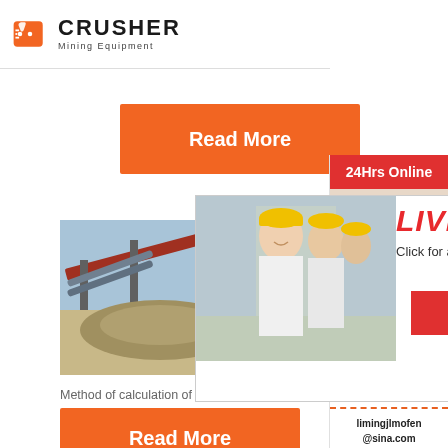[Figure (logo): Crusher Mining Equipment logo with orange shopping bag/crusher icon and bold CRUSHER text with Mining Equipment subtitle]
[Figure (other): Orange Read More button]
[Figure (photo): Mining equipment/conveyor belt scene on left, workers in hard hats in center of live chat popup]
[Figure (other): Live chat popup overlay with LIVE CHAT heading, Click for a Free Consultation subtitle, Chat now and Chat later buttons]
Mill P
EXODU
Method of calculation of hammer mill power des
[Figure (other): Orange Read More button at bottom]
[Figure (other): Right sidebar with 24Hrs Online header, headset woman photo, Need questions & suggestion? text, Chat Now button, Enquiry link, limingjlmofen@sina.com email]